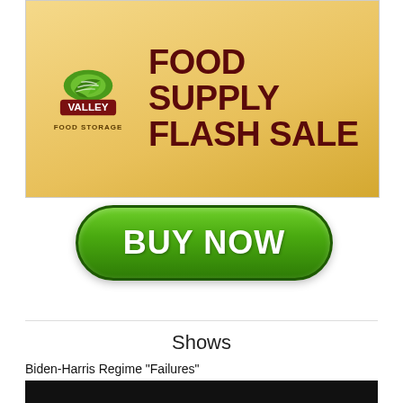[Figure (infographic): Valley Food Storage advertisement banner with golden gradient background. Shows Valley Food Storage logo on left and large dark red bold text reading FOOD SUPPLY FLASH SALE on right.]
[Figure (infographic): Green rounded rectangle BUY NOW button with white bold text.]
Shows
Biden-Harris Regime "Failures"
[Figure (screenshot): Partial video thumbnail with dark background, partially visible.]